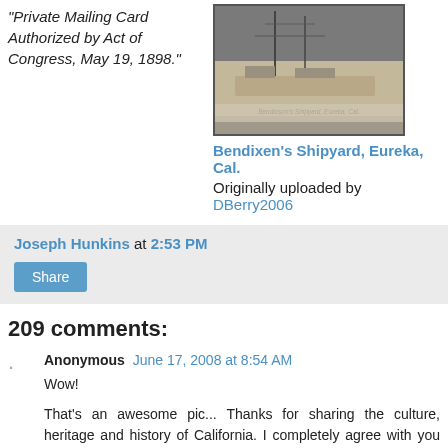"Private Mailing Card Authorized by Act of Congress, May 19, 1898."
[Figure (photo): Historical black and white photograph of Bendixen's Shipyard, Eureka, Cal.]
Bendixen's Shipyard, Eureka, Cal.
Originally uploaded by DBerry2006
Joseph Hunkins at 2:53 PM
Share
209 comments:
Anonymous June 17, 2008 at 8:54 AM
Wow!

That's an awesome pic... Thanks for sharing the culture, heritage and history of California. I completely agree with you Northern California is an awesome travel destination.
Reply